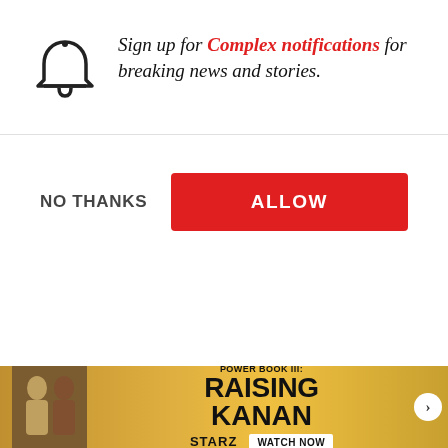Sign up for Complex notifications for breaking news and stories.
NO THANKS
ALLOW
do a couple of her p... She put me in thos... brought light to m...
[Figure (screenshot): Photo of two men standing by a car outdoors, one in a suit with a bag, one in a patterned shirt. Has a next arrow button and close X.]
Jamie Foxx Says HeSpecificallyWanted toStar Alongside DaveFranco in Netflix'...
[Figure (screenshot): Ad banner for Power Book III: Raising Kanan on Starz with Watch Now button. Shows two people on gold/yellow background.]